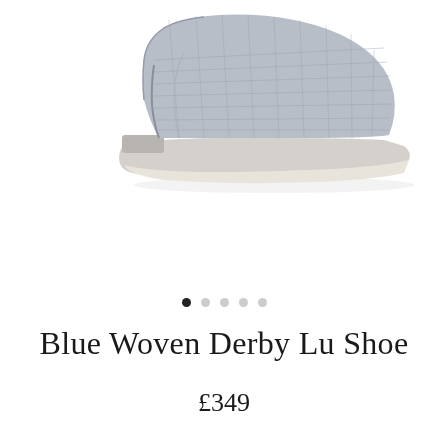[Figure (photo): A light grey/blue woven leather derby shoe photographed from the side on a white background. The shoe has a flat sole with a subtle heel, a pointed toe, and a woven texture across the upper.]
Blue Woven Derby Lu Shoe
£349